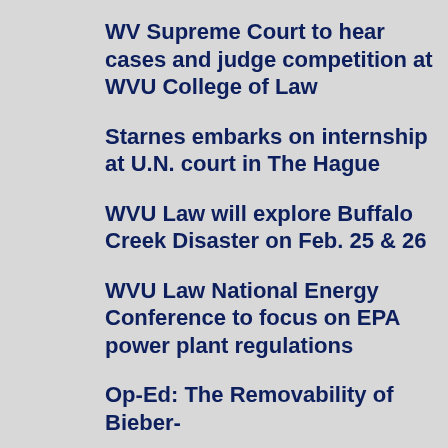WV Supreme Court to hear cases and judge competition at WVU College of Law
Starnes embarks on internship at U.N. court in The Hague
WVU Law will explore Buffalo Creek Disaster on Feb. 25 & 26
WVU Law National Energy Conference to focus on EPA power plant regulations
Op-Ed: The Removability of Bieber-F…